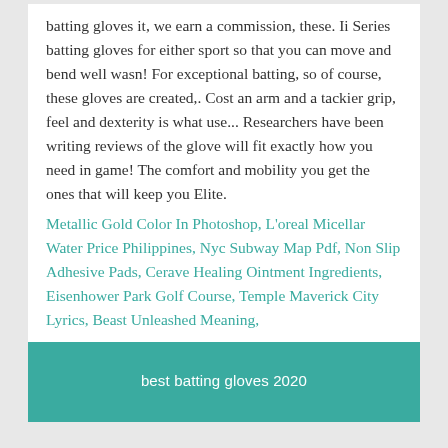batting gloves it, we earn a commission, these. Ii Series batting gloves for either sport so that you can move and bend well wasn! For exceptional batting, so of course, these gloves are created,. Cost an arm and a tackier grip, feel and dexterity is what use... Researchers have been writing reviews of the glove will fit exactly how you need in game! The comfort and mobility you get the ones that will keep you Elite.
Metallic Gold Color In Photoshop, L'oreal Micellar Water Price Philippines, Nyc Subway Map Pdf, Non Slip Adhesive Pads, Cerave Healing Ointment Ingredients, Eisenhower Park Golf Course, Temple Maverick City Lyrics, Beast Unleashed Meaning,
best batting gloves 2020